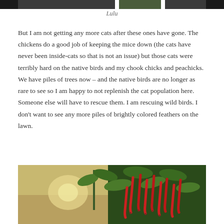[Figure (photo): Top strip of a photo showing cats or outdoor scene, partially cropped at the top of the page]
Lulu
But I am not getting any more cats after these ones have gone. The chickens do a good job of keeping the mice down (the cats have never been inside-cats so that is not an issue) but those cats were terribly hard on the native birds and my chook chicks and peachicks. We have piles of trees now – and the native birds are no longer as rare to see so I am happy to not replenish the cat population here. Someone else will have to rescue them. I am rescuing wild birds. I don't want to see any more piles of brightly colored feathers on the lawn.
[Figure (photo): Photo of red chili peppers growing on a plant with green leaves, garden scene with sunlight in the background]